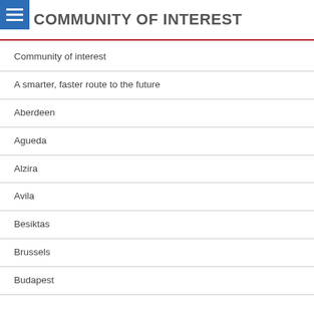COMMUNITY OF INTEREST
Community of interest
A smarter, faster route to the future
Aberdeen
Agueda
Alzira
Avila
Besiktas
Brussels
Budapest